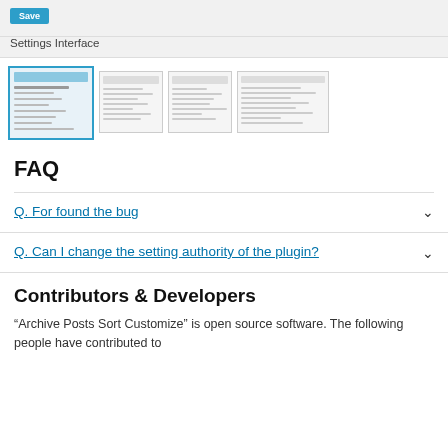[Figure (screenshot): Save button in blue at top of settings interface area]
Settings Interface
[Figure (screenshot): Row of four screenshot thumbnails of the plugin settings interface, the first one selected with a blue border]
FAQ
Q. For found the bug
Q. Can I change the setting authority of the plugin?
Contributors & Developers
“Archive Posts Sort Customize” is open source software. The following people have contributed to